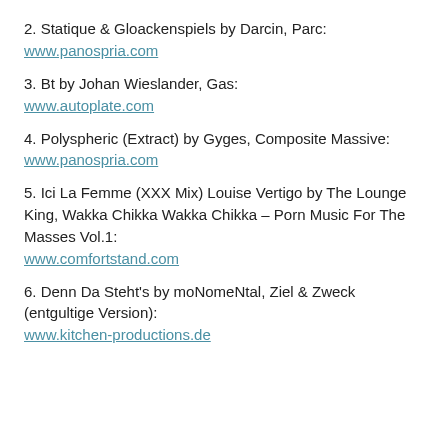2. Statique & Gloackenspiels by Darcin, Parc:
www.panospria.com
3. Bt by Johan Wieslander, Gas:
www.autoplate.com
4. Polyspheric (Extract) by Gyges, Composite Massive:
www.panospria.com
5. Ici La Femme (XXX Mix) Louise Vertigo by The Lounge King, Wakka Chikka Wakka Chikka – Porn Music For The Masses Vol.1:
www.comfortstand.com
6. Denn Da Steht's by moNomeNtal, Ziel & Zweck (entgultige Version):
www.kitchen-productions.de